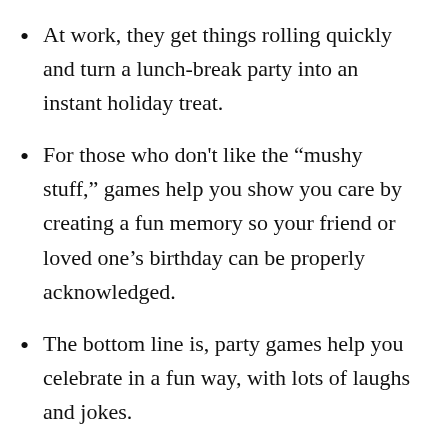At work, they get things rolling quickly and turn a lunch-break party into an instant holiday treat.
For those who don't like the “mushy stuff,” games help you show you care by creating a fun memory so your friend or loved one’s birthday can be properly acknowledged.
The bottom line is, party games help you celebrate in a fun way, with lots of laughs and jokes.